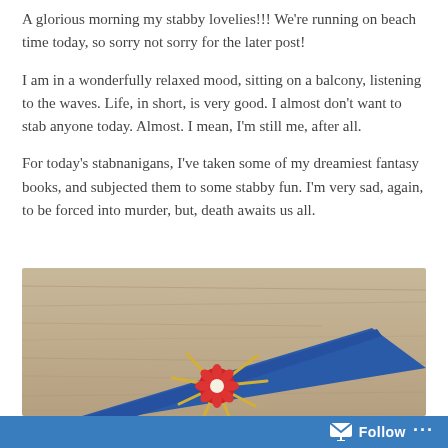A glorious morning my stabby lovelies!!! We're running on beach time today, so sorry not sorry for the later post!
I am in a wonderfully relaxed mood, sitting on a balcony, listening to the waves. Life, in short, is very good. I almost don't want to stab anyone today. Almost. I mean, I'm still me, after all.
For today's stabnanigans, I've taken some of my dreamiest fantasy books, and subjected them to some stabby fun. I'm very sad, again, to be forced into murder, but, death awaits us all.
[Figure (photo): A blue book with a red flower and golden rays design on the cover, lying on a wooden surface.]
Follow